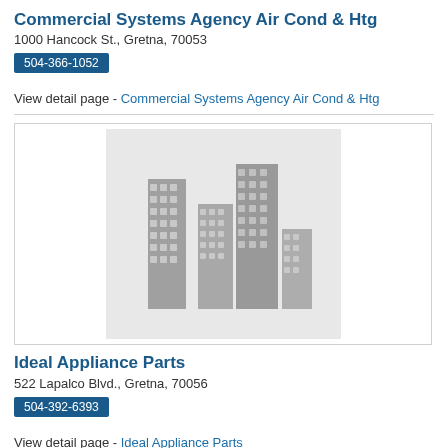Commercial Systems Agency Air Cond & Htg
1000 Hancock St., Gretna, 70053
504-366-1052
View detail page - Commercial Systems Agency Air Cond & Htg
[Figure (illustration): Building/commercial property placeholder image showing gray silhouettes of city buildings on a light gray background]
Ideal Appliance Parts
522 Lapalco Blvd., Gretna, 70056
504-392-6393
View detail page - Ideal Appliance Parts